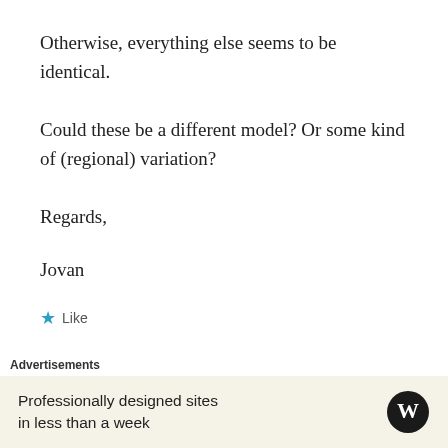Otherwise, everything else seems to be identical.
Could these be a different model? Or some kind of (regional) variation?
Regards,
Jovan
★ Like
Advertisements
Professionally designed sites in less than a week